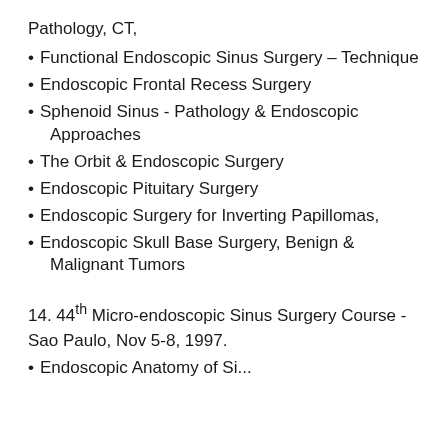Pathology, CT,
Functional Endoscopic Sinus Surgery – Technique
Endoscopic Frontal Recess Surgery
Sphenoid Sinus - Pathology & Endoscopic Approaches
The Orbit & Endoscopic Surgery
Endoscopic Pituitary Surgery
Endoscopic Surgery for Inverting Papillomas,
Endoscopic Skull Base Surgery, Benign & Malignant Tumors
14. 44th Micro-endoscopic Sinus Surgery Course - Sao Paulo, Nov 5-8, 1997.
Endoscopic Anatomy of Si...